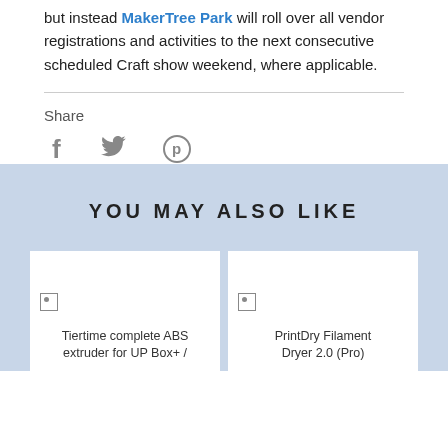but instead MakerTree Park will roll over all vendor registrations and activities to the next consecutive scheduled Craft show weekend, where applicable.
Share
[Figure (other): Social media share icons: Facebook (f), Twitter (bird), Pinterest (p)]
YOU MAY ALSO LIKE
[Figure (other): Broken image placeholder with text: Tiertime complete ABS extruder for UP Box+ /]
[Figure (other): Broken image placeholder with text: PrintDry Filament Dryer 2.0 (Pro)]